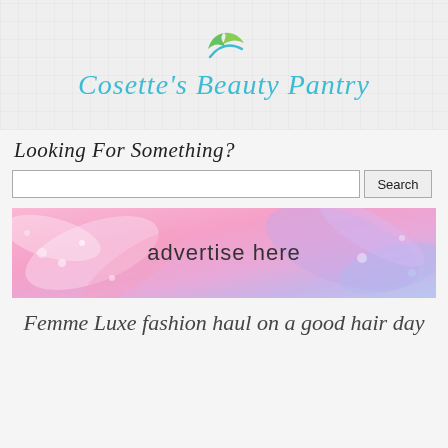[Figure (logo): Cosette's Beauty Pantry blog logo with a green leaf/swoosh icon and teal cursive text]
Looking For Something?
[Figure (infographic): Pink and purple marble texture banner with text 'advertise here']
Femme Luxe fashion haul on a good hair day